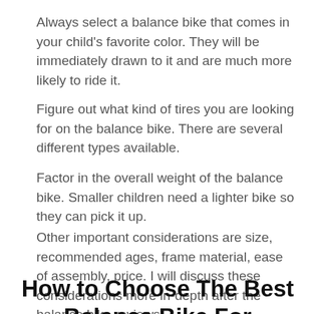Always select a balance bike that comes in your child's favorite color. They will be immediately drawn to it and are much more likely to ride it.
Figure out what kind of tires you are looking for on the balance bike. There are several different types available.
Factor in the overall weight of the balance bike. Smaller children need a lighter bike so they can pick it up.
Other important considerations are size, recommended ages, frame material, ease of assembly, price. I will discuss these considerations more in-depth after the balance bike reviews.
How to Choose The Best Balance Bike For Toddlers